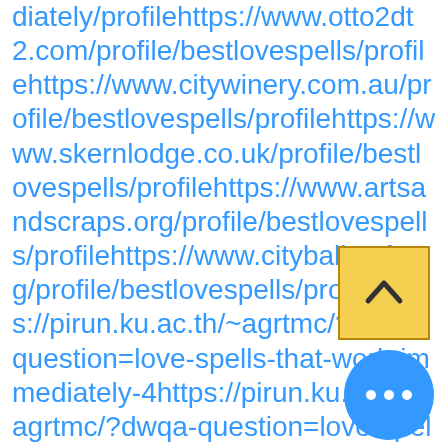diately/profilehttps://www.otto2dt2.com/profile/bestlovespells/profilehttps://www.citywinery.com.au/profile/bestlovespells/profilehttps://www.skernlodge.co.uk/profile/bestlovespells/profilehttps://www.artsandscraps.org/profile/bestlovespells/profilehttps://www.cityballetsf.org/profile/bestlovespells/profilehttps://pirun.ku.ac.th/~agrtmc/?dwqa-question=love-spells-that-work-immediately-4https://pirun.ku.ac.th/~agrtmc/?dwqa-question=love-spells-that-work-immediately-8https://pirun.ku.ac.th/~agrtmc/?dwqa-question=love-spells-that-work-immediately-10https://pirun.ku.ac.th/~agrtmc/?dwqa-question=love-spells-that-work-immediately-7https://pirun.ku.ac.th/~agrtmc/?dwqa-question=love-spells-that-work-immed...7https://pirun.ku.ac.th/~agrtmc/?dwqa-question=love-spells-that-work-immediately-11https://pirun.ku.ac.th/~agrtmc/?dwqa-question=love-spells-that-work-immed...6https://pirun.ku.ac.th/~agrtmc/?dwqa-
[Figure (other): Yellow scroll-to-top button with upward chevron arrow]
[Figure (other): Blue circular chat/more-options button with three dots]